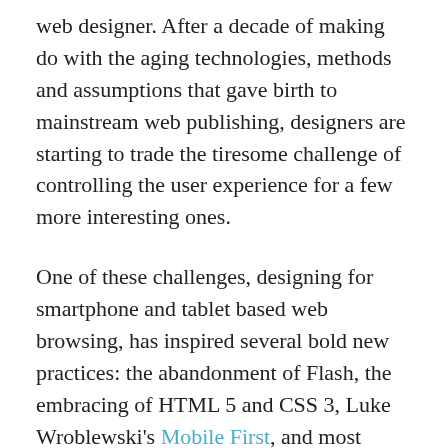web designer. After a decade of making do with the aging technologies, methods and assumptions that gave birth to mainstream web publishing, designers are starting to trade the tiresome challenge of controlling the user experience for a few more interesting ones.
One of these challenges, designing for smartphone and tablet based web browsing, has inspired several bold new practices: the abandonment of Flash, the embracing of HTML 5 and CSS 3, Luke Wroblewski's Mobile First, and most recently Ethan Marcotte's Responsive Web Design.
Responsive Web Design Today